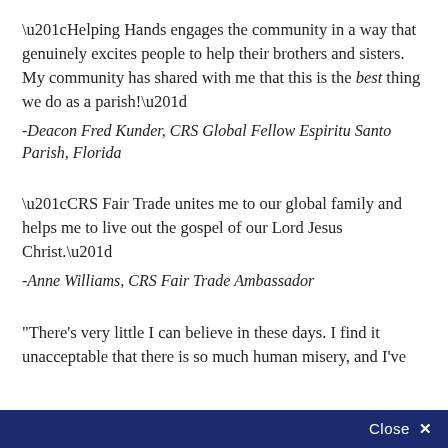“Helping Hands engages the community in a way that genuinely excites people to help their brothers and sisters. My community has shared with me that this is the best thing we do as a parish!”
-Deacon Fred Kunder, CRS Global Fellow Espiritu Santo Parish, Florida
“CRS Fair Trade unites me to our global family and helps me to live out the gospel of our Lord Jesus Christ.”
-Anne Williams, CRS Fair Trade Ambassador
"There's very little I can believe in these days. I find it unacceptable that there is so much human misery, and I've
Close ×